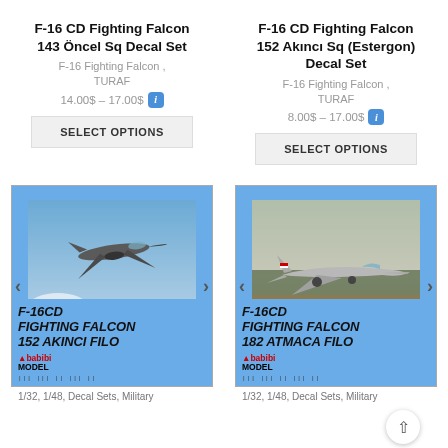F-16 CD Fighting Falcon 143 Öncel Sq Decal Set
F-16 Fighting Falcon , TURAF
14.00$ – 17.00$
SELECT OPTIONS
F-16 CD Fighting Falcon 152 Akıncı Sq (Estergon) Decal Set
F-16 Fighting Falcon , TURAF
8.00$ – 17.00$
SELECT OPTIONS
[Figure (photo): F-16CD Fighting Falcon 152 Akıncı Filo decal product card with photo of F-16 aircraft in flight and babibi model logo]
1/32, 1/48, Decal Sets, Military
[Figure (photo): F-16CD Fighting Falcon 182 Atmaca Filo decal product card with photo of F-16 aircraft on ground and babibi model logo]
1/32, 1/48, Decal Sets, Military